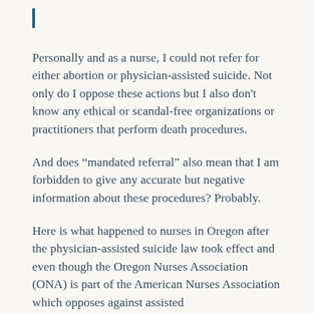Personally and as a nurse, I could not refer for either abortion or physician-assisted suicide. Not only do I oppose these actions but I also don’t know any ethical or scandal-free organizations or practitioners that perform death procedures.
And does “mandated referral” also mean that I am forbidden to give any accurate but negative information about these procedures? Probably.
Here is what happened to nurses in Oregon after the physician-assisted suicide law took effect and even though the Oregon Nurses Association (ONA) is part of the American Nurses Association which opposes against assisted